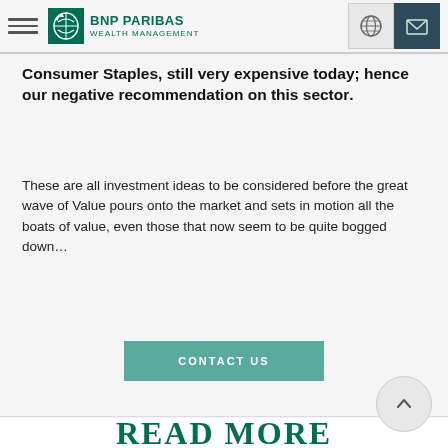BNP PARIBAS WEALTH MANAGEMENT
Consumer Staples, still very expensive today; hence our negative recommendation on this sector.
These are all investment ideas to be considered before the great wave of Value pours onto the market and sets in motion all the boats of value, even those that now seem to be quite bogged down…
CONTACT US
READ MORE